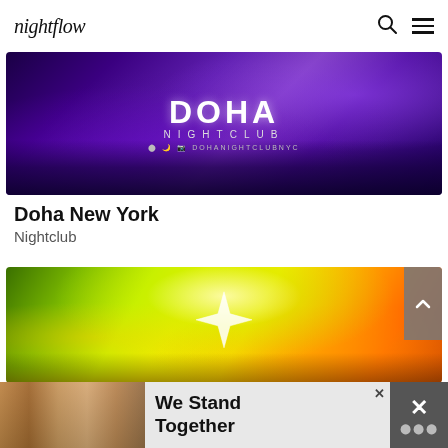nightflow
[Figure (photo): Doha Nightclub NYC banner image showing crowded purple-lit club with DOHA NIGHTCLUB logo and DOHANIGHTCLUBNYC URL]
Doha New York
Nightclub
[Figure (photo): Yellow-green laser light show photo from nightclub with spinning light effect]
[Figure (photo): Advertisement banner: group of friends with text We Stand Together]